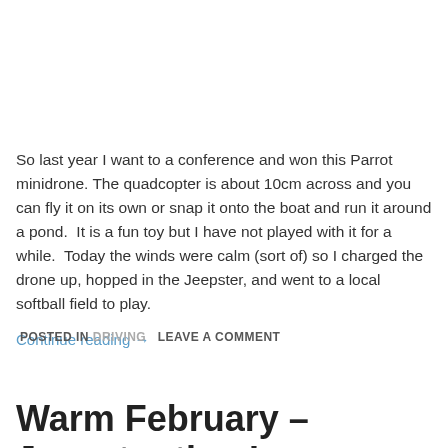So last year I want to a conference and won this Parrot minidrone. The quadcopter is about 10cm across and you can fly it on its own or snap it onto the boat and run it around a pond. It is a fun toy but I have not played with it for a while. Today the winds were calm (sort of) so I charged the drone up, hopped in the Jeepster, and went to a local softball field to play.
Continue reading →
POSTED IN DRIVING   LEAVE A COMMENT
Warm February – Jeepster time!